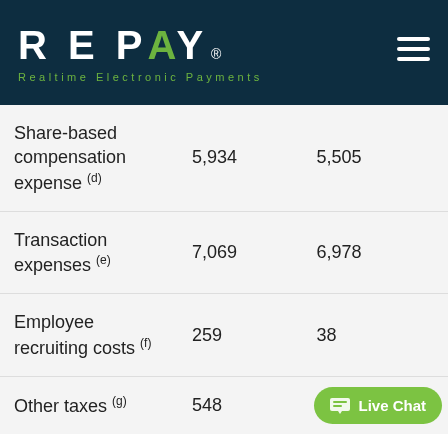REPAY — Realtime Electronic Payments
|  |  |  |
| --- | --- | --- |
| Share-based compensation expense (d) | 5,934 | 5,505 |
| Transaction expenses (e) | 7,069 | 6,978 |
| Employee recruiting costs (f) | 259 | 38 |
| Other taxes (g) | 548 | Live Chat |